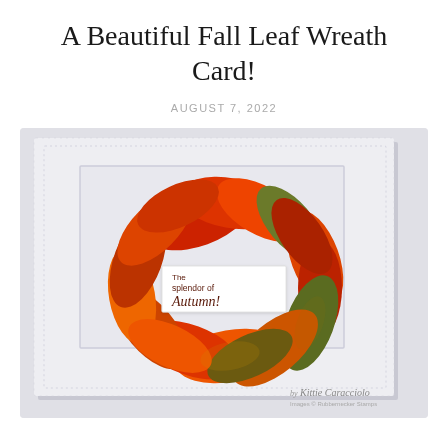A Beautiful Fall Leaf Wreath Card!
AUGUST 7, 2022
[Figure (photo): A handmade greeting card featuring a wreath of vibrant autumn maple leaves in red, orange, and green arranged around a rectangular frame on a white textured card. A white sentiment tag in the center reads 'The splendor of Autumn!' Watermark reads 'Kittie Caracciolo / Images © Rubbernecker Stamps'.]